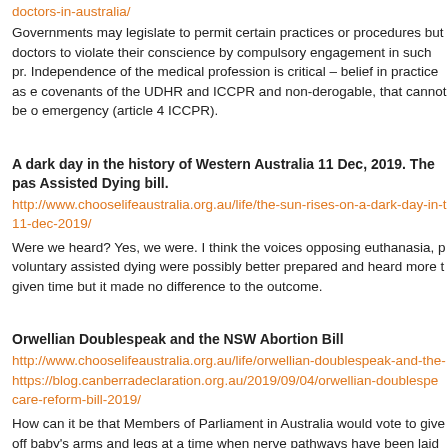doctors-in-australia/
Governments may legislate to permit certain practices or procedures but doctors to violate their conscience by compulsory engagement in such pr. Independence of the medical profession is critical – belief in practice as e covenants of the UDHR and ICCPR and non-derogable, that cannot be o emergency (article 4 ICCPR).
A dark day in the history of Western Australia 11 Dec, 2019. The pas Assisted Dying bill.
http://www.chooselifeaustralia.org.au/life/the-sun-rises-on-a-dark-day-in-t 11-dec-2019/
Were we heard? Yes, we were. I think the voices opposing euthanasia, p voluntary assisted dying were possibly better prepared and heard more t given time but it made no difference to the outcome.
Orwellian Doublespeak and the NSW Abortion Bill
http://www.chooselifeaustralia.org.au/life/orwellian-doublespeak-and-the- https://blog.canberradeclaration.org.au/2019/09/04/orwellian-doublespe care-reform-bill-2019/
How can it be that Members of Parliament in Australia would vote to give off baby's arms and legs at a time when nerve pathways have been laid o safe in what should be the safe-house womb – is screaming and writhing